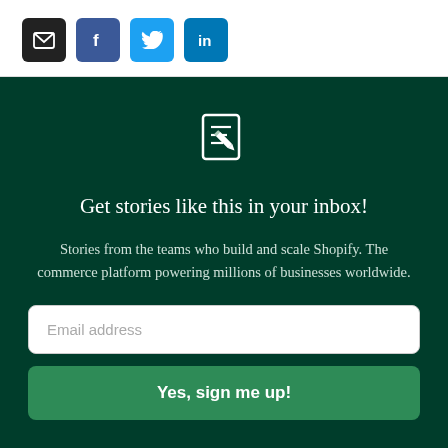[Figure (infographic): Social share icons: email (black), Facebook (blue), Twitter (light blue), LinkedIn (blue)]
[Figure (illustration): White document/newsletter icon with pencil on dark green background]
Get stories like this in your inbox!
Stories from the teams who build and scale Shopify. The commerce platform powering millions of businesses worldwide.
Email address
Yes, sign me up!